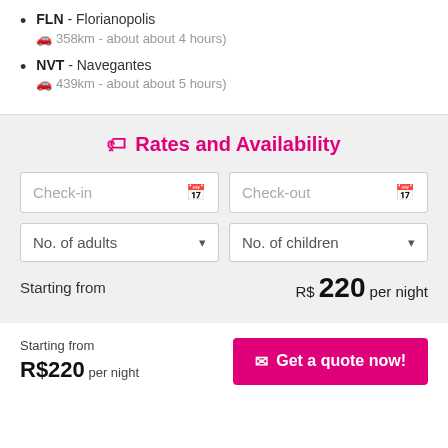FLN - Florianopolis (🚗 358km - about about 4 hours)
NVT - Navegantes (🚗 439km - about about 5 hours)
Rates and Availability
Check-in
Check-out
No. of adults
No. of children
Starting from R$ 220 per night
Starting from R$220 per night
Get a quote now!